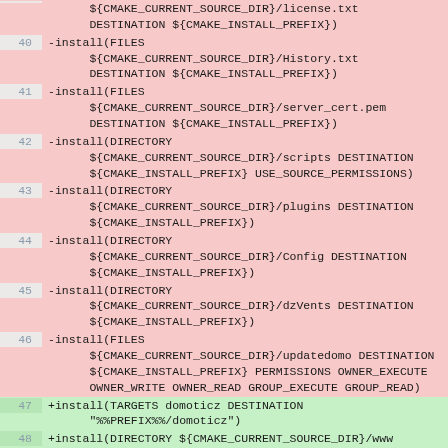Code diff showing CMake install commands, lines 40-49
40 -install(FILES ${CMAKE_CURRENT_SOURCE_DIR}/History.txt DESTINATION ${CMAKE_INSTALL_PREFIX})
41 -install(FILES ${CMAKE_CURRENT_SOURCE_DIR}/server_cert.pem DESTINATION ${CMAKE_INSTALL_PREFIX})
42 -install(DIRECTORY ${CMAKE_CURRENT_SOURCE_DIR}/scripts DESTINATION ${CMAKE_INSTALL_PREFIX} USE_SOURCE_PERMISSIONS)
43 -install(DIRECTORY ${CMAKE_CURRENT_SOURCE_DIR}/plugins DESTINATION ${CMAKE_INSTALL_PREFIX})
44 -install(DIRECTORY ${CMAKE_CURRENT_SOURCE_DIR}/Config DESTINATION ${CMAKE_INSTALL_PREFIX})
45 -install(DIRECTORY ${CMAKE_CURRENT_SOURCE_DIR}/dzVents DESTINATION ${CMAKE_INSTALL_PREFIX})
46 -install(FILES ${CMAKE_CURRENT_SOURCE_DIR}/updatedomo DESTINATION ${CMAKE_INSTALL_PREFIX} PERMISSIONS OWNER_EXECUTE OWNER_WRITE OWNER_READ GROUP_EXECUTE GROUP_READ)
47 +install(TARGETS domoticz DESTINATION "%%PREFIX%%/domoticz")
48 +install(DIRECTORY ${CMAKE_CURRENT_SOURCE_DIR}/www DESTINATION "%%PREFIX%%/domoticz")
49 +install(FILES